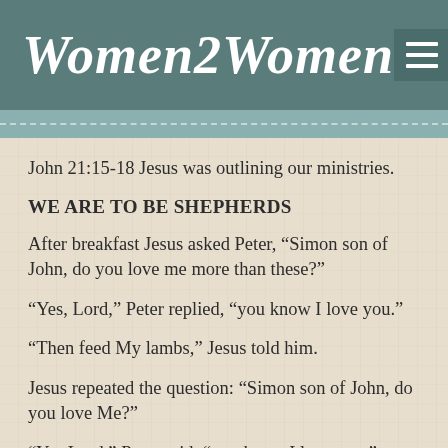Women2Women
John 21:15-18 Jesus was outlining our ministries.
WE ARE TO BE SHEPHERDS
After breakfast Jesus asked Peter, “Simon son of John, do you love me more than these?”
“Yes, Lord,” Peter replied, “you know I love you.”
“Then feed My lambs,” Jesus told him.
Jesus repeated the question: “Simon son of John, do you love Me?”
“Yes Lord,” Peter said, “you know I love you.”